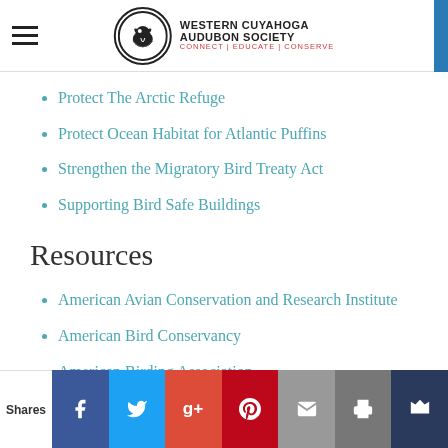Western Cuyahoga Audubon Society — Connect | Educate | Conserve
Protect The Arctic Refuge
Protect Ocean Habitat for Atlantic Puffins
Strengthen the Migratory Bird Treaty Act
Supporting Bird Safe Buildings
Resources
American Avian Conservation and Research Institute
American Bird Conservancy
American Birding Association
American Forests Blog
Audubon Adventures
Audubon in Ohio
Audubon Strategic Plan 2016-2020
Avian Research and Conservation Institute
Shares | Facebook | Twitter | Google+ | Pinterest | Email | Print | Crown